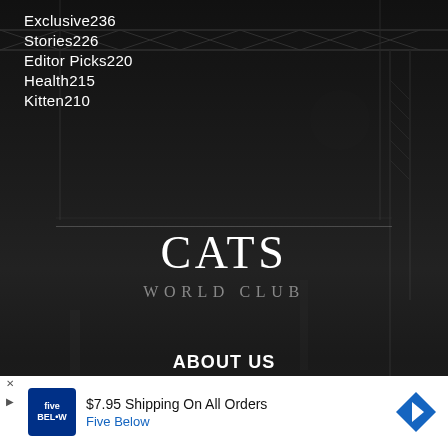Exclusive236
Stories226
Editor Picks220
Health215
Kitten210
CATS
WORLD CLUB
ABOUT US
$7.95 Shipping On All Orders Five Below